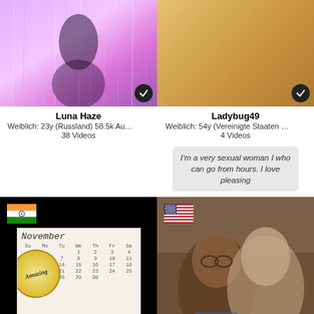[Figure (photo): Profile thumbnail photo of Luna Haze with purple/pink glittery background]
Luna Haze
Weiblich: 23y (Russland) 58.5k Au…
38 Videos
[Figure (photo): Profile thumbnail photo of Ladybug49]
Ladybug49
Weiblich: 54y (Vereinigte Staaten …
4 Videos
I'm a very sexual woman I who can go from hours. I love pleasing
[Figure (photo): Profile card with Indian flag, black background, calendar photo with Amazing bubble overlay]
[Figure (photo): Profile card with US flag, photo of man and woman]